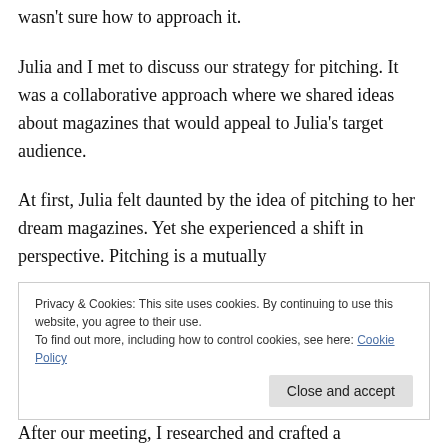wasn't sure how to approach it.
Julia and I met to discuss our strategy for pitching. It was a collaborative approach where we shared ideas about magazines that would appeal to Julia's target audience.
At first, Julia felt daunted by the idea of pitching to her dream magazines. Yet she experienced a shift in perspective. Pitching is a mutually
Privacy & Cookies: This site uses cookies. By continuing to use this website, you agree to their use. To find out more, including how to control cookies, see here: Cookie Policy
After our meeting, I researched and crafted a